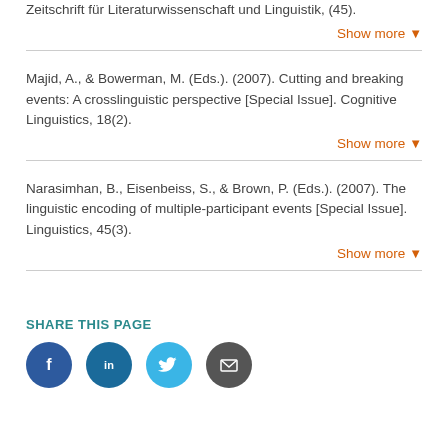Zeitschrift für Literaturwissenschaft und Linguistik, (45).
Show more
Majid, A., & Bowerman, M. (Eds.). (2007). Cutting and breaking events: A crosslinguistic perspective [Special Issue]. Cognitive Linguistics, 18(2).
Show more
Narasimhan, B., Eisenbeiss, S., & Brown, P. (Eds.). (2007). The linguistic encoding of multiple-participant events [Special Issue]. Linguistics, 45(3).
Show more
SHARE THIS PAGE
[Figure (illustration): Four social media icon circles: Facebook (dark blue), LinkedIn (medium blue), Twitter (light blue), Email (dark gray)]